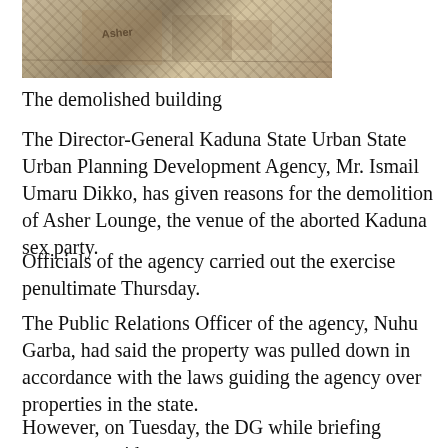[Figure (photo): Photograph of the demolished building (Asher Lounge), showing rubble and debris with signage partially visible]
The demolished building
The Director-General Kaduna State Urban State Urban Planning Development Agency, Mr. Ismail Umaru Dikko, has given reasons for the demolition of Asher Lounge, the venue of the aborted Kaduna sex party.
Officials of the agency carried out the exercise penultimate Thursday.
The Public Relations Officer of the agency, Nuhu Garba, had said the property was pulled down in accordance with the laws guiding the agency over properties in the state.
However, on Tuesday, the DG while briefing newsmen, said